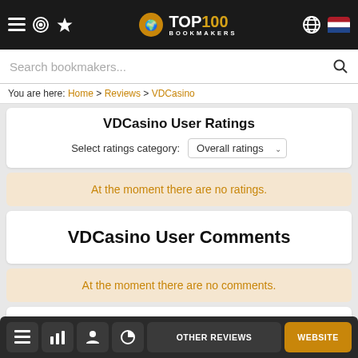TOP100 BOOKMAKERS
Search bookmakers...
You are here: Home > Reviews > VDCasino
VDCasino User Ratings
Select ratings category: Overall ratings
At the moment there are no ratings.
VDCasino User Comments
At the moment there are no comments.
VDCasino User Reviews
At the moment there are no reviews.